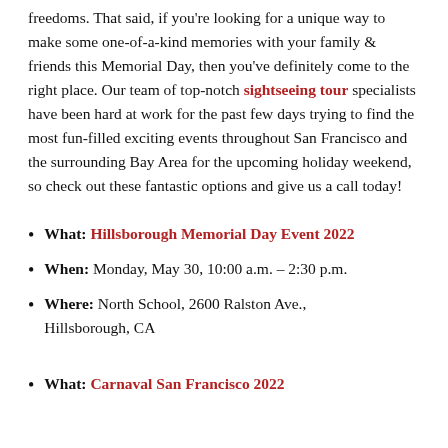freedoms. That said, if you're looking for a unique way to make some one-of-a-kind memories with your family & friends this Memorial Day, then you've definitely come to the right place. Our team of top-notch sightseeing tour specialists have been hard at work for the past few days trying to find the most fun-filled exciting events throughout San Francisco and the surrounding Bay Area for the upcoming holiday weekend, so check out these fantastic options and give us a call today!
What: Hillsborough Memorial Day Event 2022
When: Monday, May 30, 10:00 a.m. – 2:30 p.m.
Where: North School, 2600 Ralston Ave., Hillsborough, CA
What: Carnaval San Francisco 2022